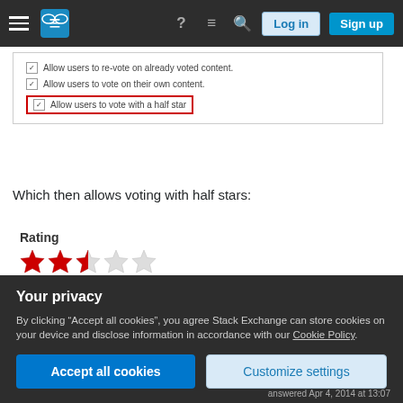[Figure (screenshot): Stack Exchange navigation bar with hamburger menu, logo, help icon, chat icon, search icon, Log in and Sign up buttons on dark background]
[Figure (screenshot): Settings panel showing three checkboxes: 'Allow users to re-vote on already voted content', 'Allow users to vote on their own content', 'Allow users to vote with a half star' — last row highlighted with red border]
Which then allows voting with half stars:
[Figure (other): Rating widget showing label 'Rating' and 2.5 out of 5 stars (two full red stars, one half red star, two empty stars)]
There is a rounding bug that occurs occasionally at the moment when using the Stars (rated while editing) widget. If you have 9 stars and then vote 5.5
Your privacy
By clicking "Accept all cookies", you agree Stack Exchange can store cookies on your device and disclose information in accordance with our Cookie Policy.
Accept all cookies
Customize settings
answered Apr 4, 2014 at 13:07